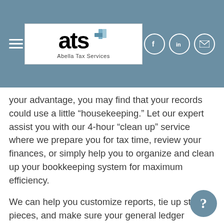[Figure (logo): Abella Tax Services logo with 'ats' text and plus sign graphic, white background, tagline 'Abella Tax Services']
your advantage, you may find that your records could use a little “housekeeping.” Let our expert assist you with our 4-hour “clean up” service where we prepare you for tax time, review your finances, or simply help you to organize and clean up your bookkeeping system for maximum efficiency.
We can help you customize reports, tie up stray pieces, and make sure your general ledger balances along with subsidiary records. Our housekeeping services are offered at one low price that will save you money in the long run.